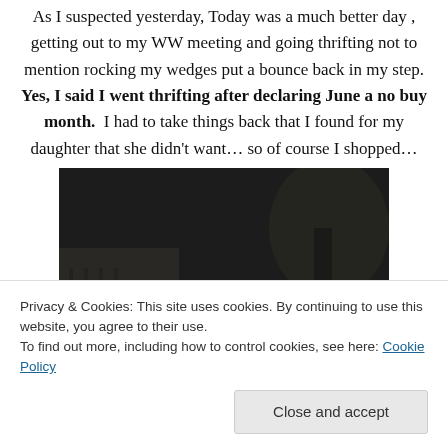As I suspected yesterday, Today was a much better day , getting out to my WW meeting and going thrifting not to mention rocking my wedges put a bounce back in my step. Yes, I said I went thrifting after declaring June a no buy month.  I had to take things back that I found for my daughter that she didn't want… so of course I shopped…
[Figure (photo): Black and white photo of a woman with brown hair, wearing sunglasses and pink hair accessory, smiling, outdoors with trees and a fence in the background.]
Privacy & Cookies: This site uses cookies. By continuing to use this website, you agree to their use.
To find out more, including how to control cookies, see here: Cookie Policy
Close and accept